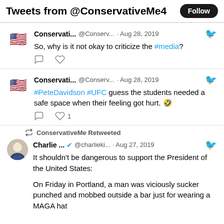Tweets from @ConservativeMe4  Follow
Conservati... @Conserv... · Aug 28, 2019
So, why is it not okay to criticize the #media?
Conservati... @Conserv... · Aug 28, 2019
#PeteDavidson #UFC guess the students needed a safe space when their feeling got hurt. 🤣  ♡ 1
ConservativeMe Retweeted
Charlie ... ✓ @charlieki... · Aug 27, 2019
It shouldn't be dangerous to support the President of the United States:

On Friday in Portland, a man was viciously sucker punched and mobbed outside a bar just for wearing a MAGA hat